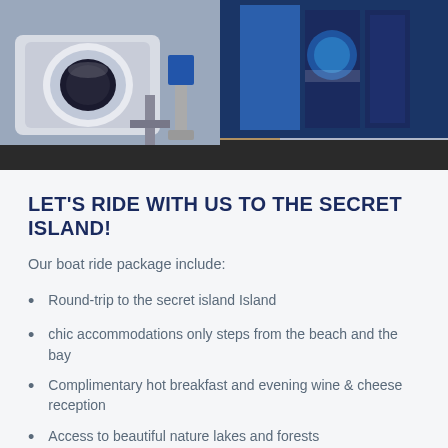[Figure (photo): Exhibition or trade show booth with a large MRI/CT scanner machine on the left side and illuminated blue display panels with GE Healthcare branding on the right. The booth features blue lighting and digital displays showing medical imaging content.]
LET'S RIDE WITH US TO THE SECRET ISLAND!
Our boat ride package include:
Round-trip to the secret island Island
chic accommodations only steps from the beach and the bay
Complimentary hot breakfast and evening wine & cheese reception
Access to beautiful nature lakes and forests